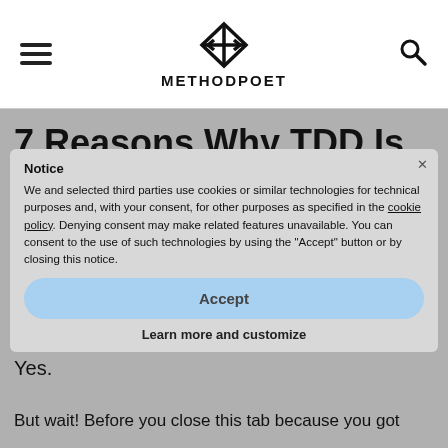METHODPOET
7 Reasons Why TDD Is Worth Your Time
Is TDD worth it?
Yes.
But wait! Before you close this tab because you got
Notice
We and selected third parties use cookies or similar technologies for technical purposes and, with your consent, for other purposes as specified in the cookie policy. Denying consent may make related features unavailable. You can consent to the use of such technologies by using the "Accept" button or by closing this notice.
Accept
Learn more and customize